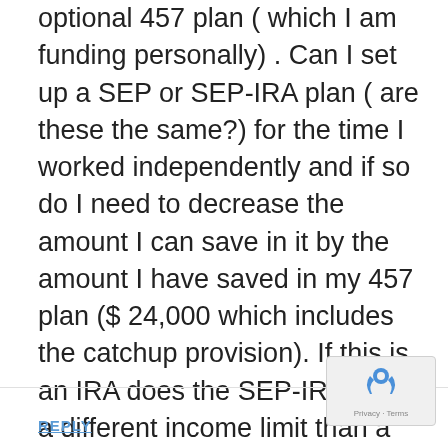optional 457 plan ( which I am funding personally) . Can I set up a SEP or SEP-IRA plan ( are these the same?) for the time I worked independently and if so do I need to decrease the amount I can save in it by the amount I have saved in my 457 plan ($ 24,000 which includes the catchup provision). If this is an IRA does the SEP-IRA have a different income limit than a traditional IRA? Thank you for your reply . I have spent a great deal of computer time trying to make sense of this and so far I am not certain . I am afraid my tax person may also not be up to date on this so I wish to know as much as possible .
REPLY